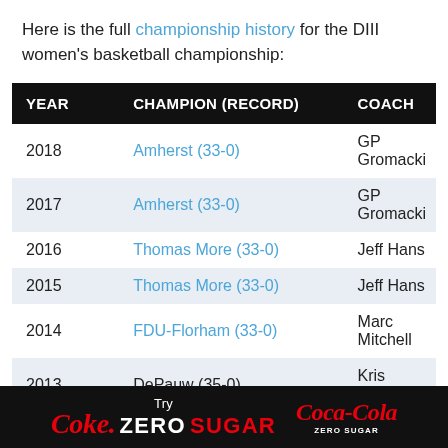Here is the full championship history for the DIII women's basketball championship:
| YEAR | CHAMPION (RECORD) | COACH |
| --- | --- | --- |
| 2018 | Amherst (33-0) | GP Gromacki |
| 2017 | Amherst (33-0) | GP Gromacki |
| 2016 | Thomas More (33-0) | Jeff Hans |
| 2015 | Thomas More (33-0) | Jeff Hans |
| 2014 | FDU-Florham (33-0) | Marc Mitchell |
| 2013 | DePauw (35-0) | Kris Huffman |
| 2012 | Illinois Wesleyan (28-5) | Mia Smith |
| 2011 | Amherst (32-1) | GP Gromacki |
[Figure (logo): Coke Zero Sugar and Coca-Cola Zero Sugar advertisement banner]